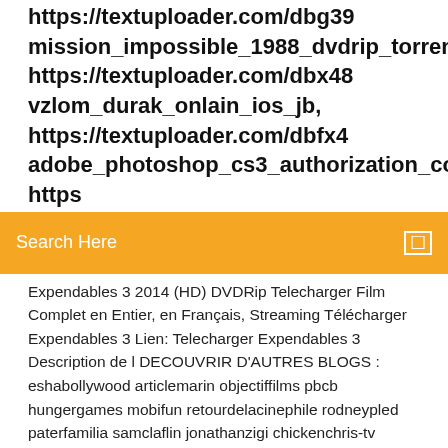https://textuploader.com/dbg39 mission_impossible_1988_dvdrip_torrent, https://textuploader.com/dbx48 vzlom_durak_onlain_ios_jb, https://textuploader.com/dbfx4 adobe_photoshop_cs3_authorization_code_full, https
Search Here
Expendables 3 2014 (HD) DVDRip Telecharger Film Complet en Entier, en Français, Streaming Télécharger Expendables 3 Lien: Telecharger Expendables 3 Description de l DECOUVRIR D'AUTRES BLOGS : eshabollywood articlemarin objectiffilms pbcb hungergames mobifun retourdelacinephile rodneypled paterfamilia samclaflin jonathanzigi chickenchris-tv Télécharger bilbo le hobbit Uptobox Rapidgator Putlocker Mega ... * Bataille et d'aventure à travers le monde à couper le souffle de Tolkien * Utiliser l'anneau de devenir invisible et se faufiler ennemis d'hier * Rencontrer des ... YouTube